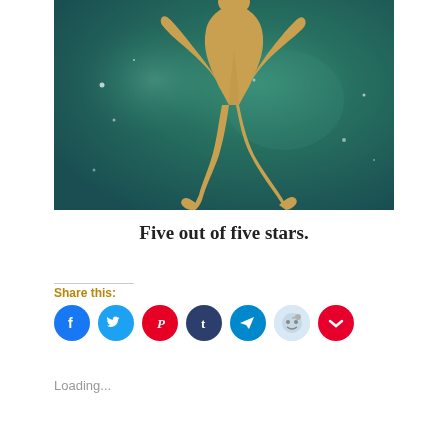[Figure (illustration): A golden silhouette of a dancing figure against a teal/green cosmic background with small white star-like dots scattered throughout]
Five out of five stars.
Share this:
[Figure (other): Row of social media share icons: Facebook, Twitter, Pinterest, Tumblr, Telegram, Reddit, Pocket]
Loading...